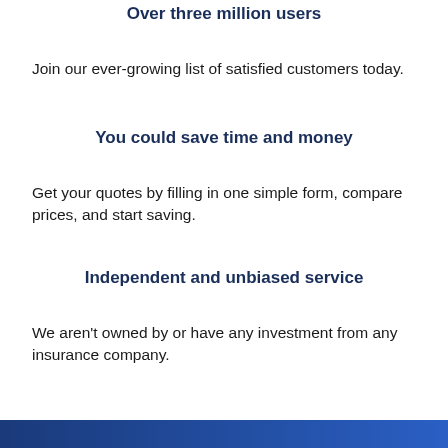Over three million users
Join our ever-growing list of satisfied customers today.
You could save time and money
Get your quotes by filling in one simple form, compare prices, and start saving.
Independent and unbiased service
We aren’t owned by or have any investment from any insurance company.